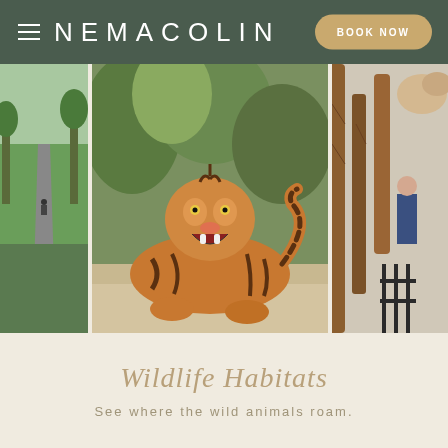NEMACOLIN  BOOK NOW
[Figure (photo): Three-panel photo strip: left panel shows a paved path through a green park with a cyclist; center panel shows a Bengal tiger lying on sandy ground with mouth open roaring, surrounded by trees; right panel shows wooden branches/poles of an animal enclosure with a person visible in background]
Wildlife Habitats
See where the wild animals roam.